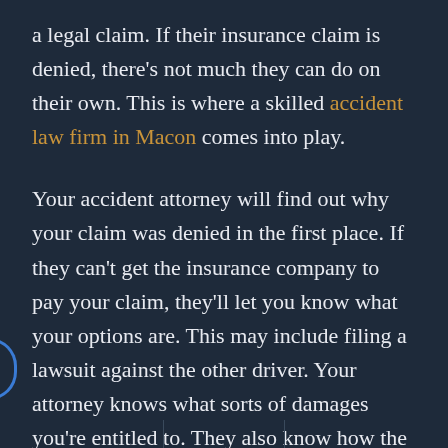a legal claim. If their insurance claim is denied, there's not much they can do on their own. This is where a skilled accident law firm in Macon comes into play.
Your accident attorney will find out why your claim was denied in the first place. If they can't get the insurance company to pay your claim, they'll let you know what your options are. This may include filing a lawsuit against the other driver. Your attorney knows what sorts of damages you're entitled to. They also know how the